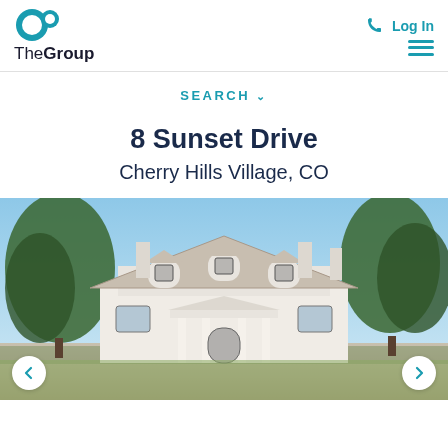TheGroup — Log In
SEARCH ∨
8 Sunset Drive
Cherry Hills Village, CO
[Figure (photo): Exterior photo of a large white colonial-style house with dormer windows, multiple chimneys, and surrounded by trees under a blue sky. Navigation arrows visible at bottom left and right.]